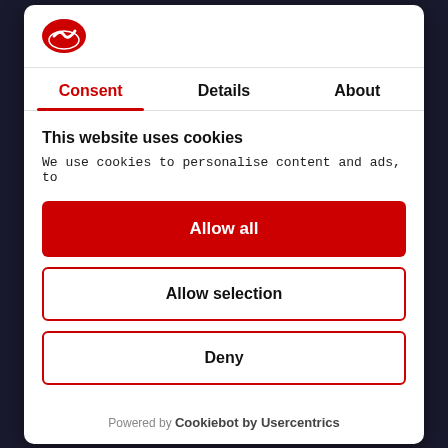[Figure (logo): Red oval logo with white checkmark/swoosh icon]
Consent | Details | About
This website uses cookies
We use cookies to personalise content and ads, to
Allow all
Allow selection
Deny
Powered by Cookiebot by Usercentrics